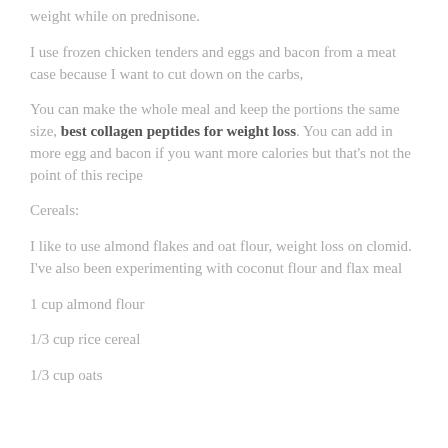weight while on prednisone.
I use frozen chicken tenders and eggs and bacon from a meat case because I want to cut down on the carbs,
You can make the whole meal and keep the portions the same size, best collagen peptides for weight loss. You can add in more egg and bacon if you want more calories but that's not the point of this recipe
Cereals:
I like to use almond flakes and oat flour, weight loss on clomid. I've also been experimenting with coconut flour and flax meal
1 cup almond flour
1/3 cup rice cereal
1/3 cup oats